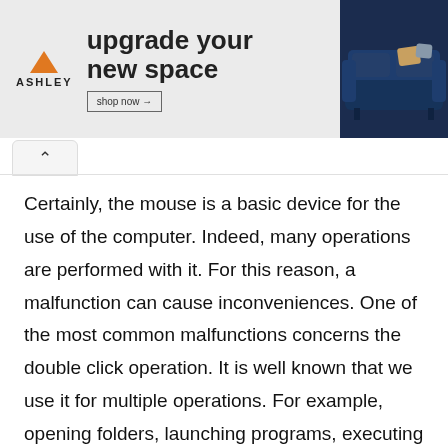[Figure (other): Ashley Furniture advertisement banner showing logo, text 'upgrade your new space', a shop now button, and a photo of a dark blue sofa with decorative pillows]
Certainly, the mouse is a basic device for the use of the computer. Indeed, many operations are performed with it. For this reason, a malfunction can cause inconveniences. One of the most common malfunctions concerns the double click operation. It is well known that we use it for multiple operations. For example, opening folders, launching programs, executing files etc. Lets troubleshoot and solve the issue.